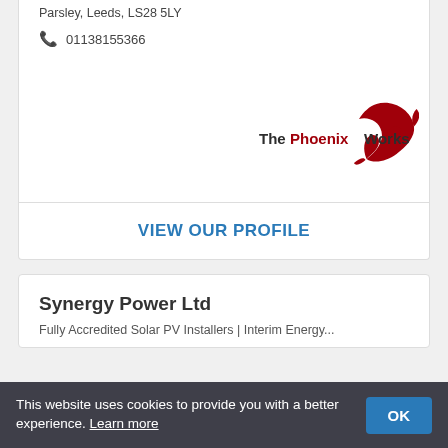Parsley, Leeds, LS28 5LY
01138155366
[Figure (logo): The PhoenixWorks logo with a red phoenix wing graphic. Text reads 'The' in dark, 'Phoenix' in red, 'Works' in dark.]
VIEW OUR PROFILE
Synergy Power Ltd
Fully Accredited Solar PV Installers | Interim Energy...
This website uses cookies to provide you with a better experience. Learn more